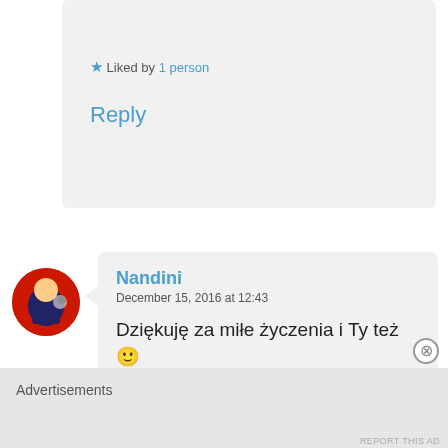★ Liked by 1 person
Reply
[Figure (illustration): Round avatar icon with red background and stylized character]
Nandini
December 15, 2016 at 12:43
Dziękuję za miłe życzenia i Ty też 🙂
Like
Reply
Advertisements
REPORT THIS AD